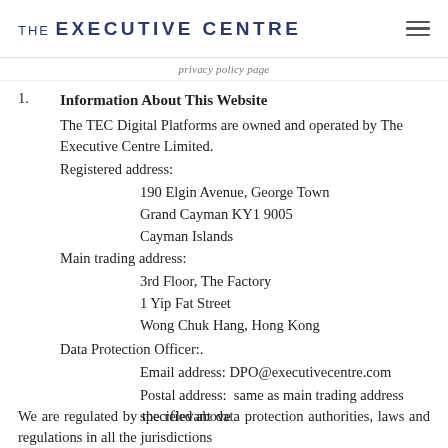THE EXECUTIVE CENTRE
...policy privacy page...
Information About This Website
The TEC Digital Platforms are owned and operated by The Executive Centre Limited.
Registered address:
190 Elgin Avenue, George Town
Grand Cayman KY1 9005
Cayman Islands
Main trading address:
3rd Floor, The Factory
1 Yip Fat Street
Wong Chuk Hang, Hong Kong
Data Protection Officer:.
Email address: DPO@executivecentre.com
Postal address: same as main trading address specified above
We are regulated by the relevant data protection authorities, laws and regulations in all the jurisdictions